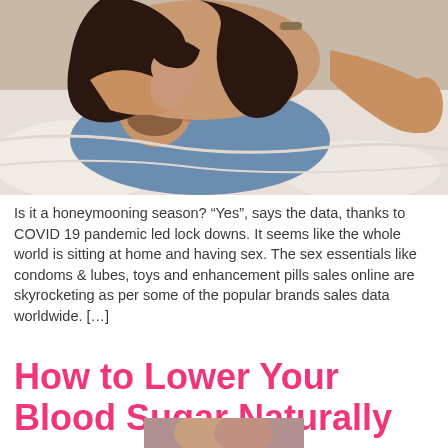[Figure (photo): A couple kissing and embracing on a bed, woman on top of man, white bedding, intimate scene]
Is it a honeymooning season? “Yes”, says the data, thanks to COVID 19 pandemic led lock downs. It seems like the whole world is sitting at home and having sex. The sex essentials like condoms & lubes, toys and enhancement pills sales online are skyrocketing as per some of the popular brands sales data worldwide. […]
How to Lower Your Blood Sugar Naturally
[Figure (photo): Partial view of a photo at the bottom of the page, partially cropped]